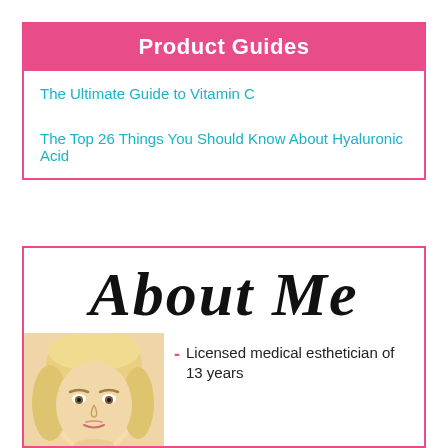Product Guides
The Ultimate Guide to Vitamin C
The Top 26 Things You Should Know About Hyaluronic Acid
About Me
[Figure (photo): Photo of a blonde woman, cropped to show head and shoulders]
- Licensed medical esthetician of 13 years